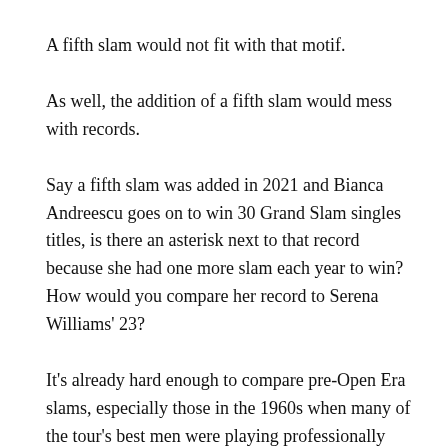A fifth slam would not fit with that motif.
As well, the addition of a fifth slam would mess with records.
Say a fifth slam was added in 2021 and Bianca Andreescu goes on to win 30 Grand Slam singles titles, is there an asterisk next to that record because she had one more slam each year to win? How would you compare her record to Serena Williams' 23?
It's already hard enough to compare pre-Open Era slams, especially those in the 1960s when many of the tour's best men were playing professionally and